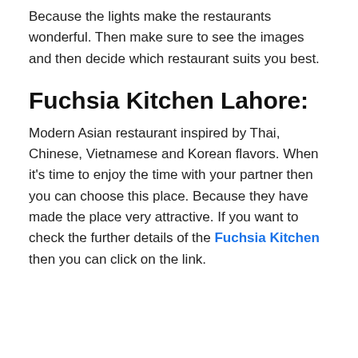Because the lights make the restaurants wonderful. Then make sure to see the images and then decide which restaurant suits you best.
Fuchsia Kitchen Lahore:
Modern Asian restaurant inspired by Thai, Chinese, Vietnamese and Korean flavors. When it’s time to enjoy the time with your partner then you can choose this place. Because they have made the place very attractive. If you want to check the further details of the Fuchsia Kitchen then you can click on the link.